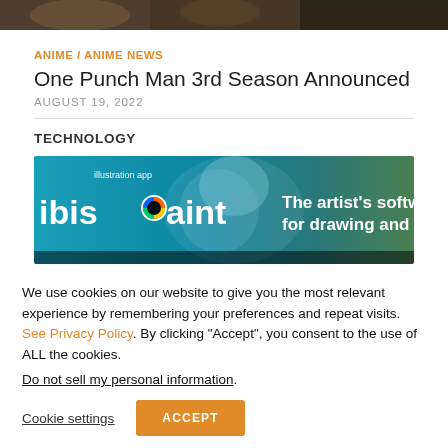[Figure (photo): Top banner image showing anime characters in a dark scene]
ANIME / ANIME NEWS
One Punch Man 3rd Season Announced
AUGUST 19, 2022
TECHNOLOGY
[Figure (screenshot): ibis Paint advertisement banner showing anime character and text: illustration app, ibisPaint, The artist's software for drawing and painting]
We use cookies on our website to give you the most relevant experience by remembering your preferences and repeat visits. See Privacy Policy. By clicking "Accept", you consent to the use of ALL the cookies.
Do not sell my personal information.
Cookie settings
ACCEPT